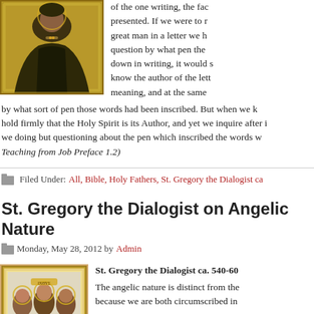[Figure (illustration): Byzantine style icon showing a holy figure in dark robes with gold background]
of the one writing, the fact... presented. If we were to read a great man in a letter we have question by what pen the... down in writing, it would s... know the author of the lett... meaning, and at the same...
by what sort of pen those words had been inscribed. But when we k... hold firmly that the Holy Spirit is its Author, and yet we inquire after i... we doing but questioning about the pen which inscribed the words w...
Teaching from Job Preface 1.2)
Filed Under: All, Bible, Holy Fathers, St. Gregory the Dialogist ca...
St. Gregory the Dialogist on Angelic Nature
Monday, May 28, 2012 by Admin
[Figure (illustration): Byzantine icon showing religious figures with mosaic style, framed with decorative gold border]
St. Gregory the Dialogist ca. 540-60...
The angelic nature is distinct from the... because we are both circumscribed in...